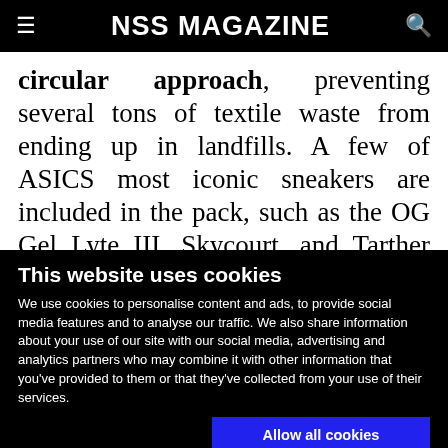NSS MAGAZINE
circular approach, preventing several tons of textile waste from ending up in landfills. A few of ASICS most iconic sneakers are included in the pack, such as the OG Gel Lyte III, Skycourt, and Tarther Blast. Since less dye was used to save on water waste
This website uses cookies
We use cookies to personalise content and ads, to provide social media features and to analyse our traffic. We also share information about your use of our site with our social media, advertising and analytics partners who may combine it with other information that you've provided to them or that they've collected from your use of their services.
Allow all cookies
Allow selection
Use necessary cookies only
Necessary  Preferences  Statistics  Marketing  Show details